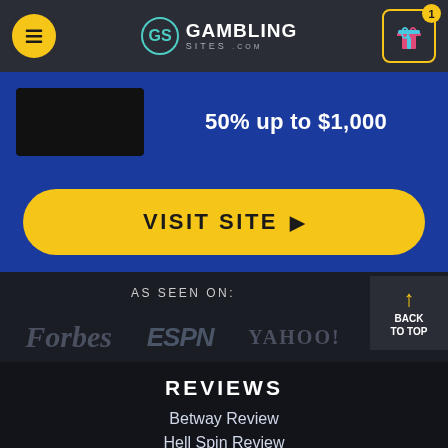[Figure (screenshot): GamblingSites.com navigation bar with hamburger menu, logo, and gift icon with badge showing 1]
50% up to $1,000
VISIT SITE ▶
AS SEEN ON:
[Figure (logo): Forbes logo]
[Figure (logo): ESPN logo]
[Figure (logo): Yahoo! logo]
...And Many Others
BACK TO TOP
REVIEWS
Betway Review
Hell Spin Review